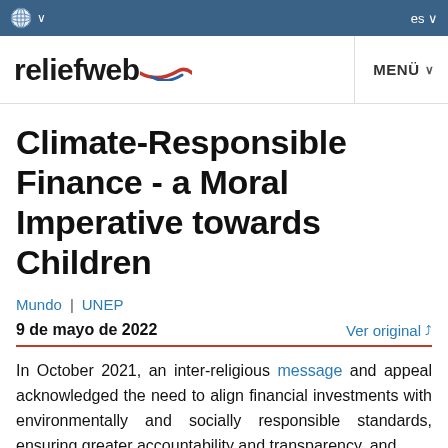reliefweb | MENÜ | es
Climate-Responsible Finance - a Moral Imperative towards Children
Mundo | UNEP
9 de mayo de 2022    Ver original
In October 2021, an inter-religious message and appeal acknowledged the need to align financial investments with environmentally and socially responsible standards, ensuring greater accountability and transparency, and